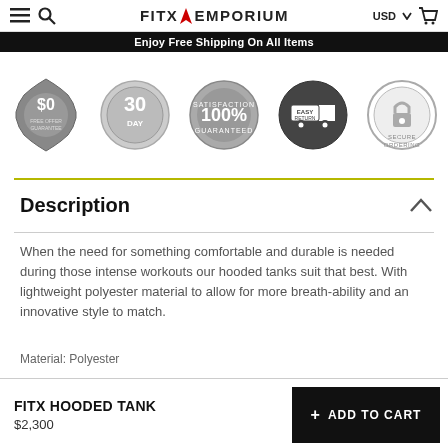FITX EMPORIUM — USD — [hamburger] [search] [cart]
Enjoy Free Shipping On All Items
[Figure (illustration): Five trust badges: $0 Free Offer Guarantee, 30 Day, 100% Satisfaction Guaranteed, Easy Return truck, Secure Ordering padlock]
Description
When the need for something comfortable and durable is needed during those intense workouts our hooded tanks suit that best. With lightweight polyester material to allow for more breath-ability and an innovative style to match.
Material: Polyester
FITX HOODED TANK
$2,300
+ ADD TO CART